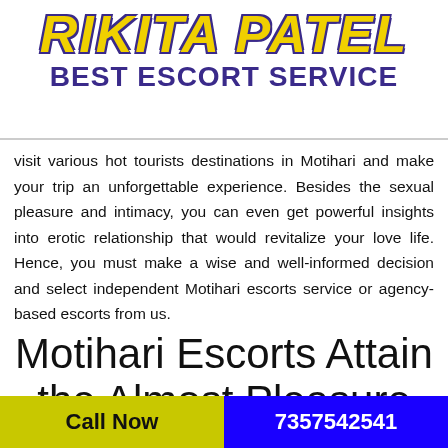RIKITA PATEL BEST ESCORT SERVICE
visit various hot tourists destinations in Motihari and make your trip an unforgettable experience. Besides the sexual pleasure and intimacy, you can even get powerful insights into erotic relationship that would revitalize your love life. Hence, you must make a wise and well-informed decision and select independent Motihari escorts service or agency-based escorts from us.
Motihari Escorts Attain the Almost Pleasure and Relax Your Body!
Call Now
7357542541